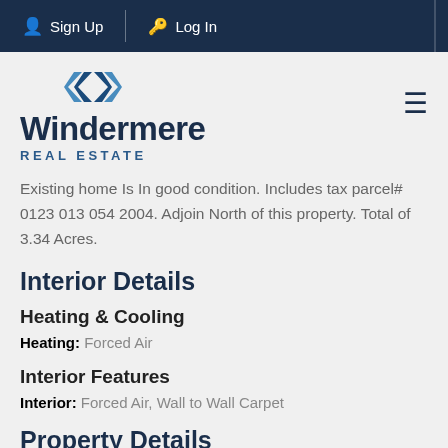Sign Up  Log In
[Figure (logo): Windermere Real Estate logo with diamond arrow icon]
Existing home Is In good condition. Includes tax parcel# 0123 013 054 2004. Adjoin North of this property. Total of 3.34 Acres.
Interior Details
Heating & Cooling
Heating: Forced Air
Interior Features
Interior: Forced Air, Wall to Wall Carpet
Property Details